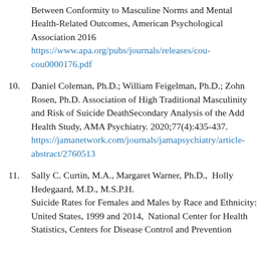Between Conformity to Masculine Norms and Mental Health-Related Outcomes, American Psychological Association 2016
https://www.apa.org/pubs/journals/releases/cou-cou0000176.pdf
10. Daniel Coleman, Ph.D.; William Feigelman, Ph.D.; Zohn Rosen, Ph.D. Association of High Traditional Masculinity and Risk of Suicide DeathSecondary Analysis of the Add Health Study, AMA Psychiatry. 2020;77(4):435-437.
https://jamanetwork.com/journals/jamapsychiatry/article-abstract/2760513
11. Sally C. Curtin, M.A., Margaret Warner, Ph.D.,  Holly Hedegaard, M.D., M.S.P.H.
Suicide Rates for Females and Males by Race and Ethnicity: United States, 1999 and 2014,  National Center for Health Statistics, Centers for Disease Control and Prevention